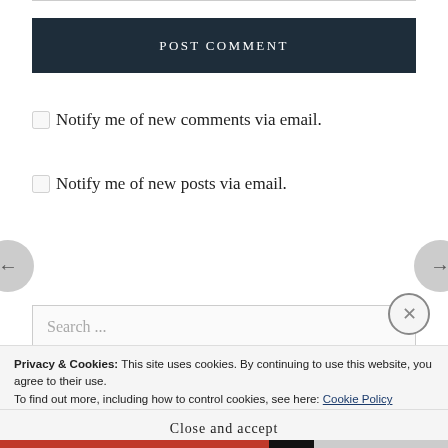[Figure (screenshot): Top border line across the page]
POST COMMENT
Notify me of new comments via email.
Notify me of new posts via email.
Search ...
Privacy & Cookies: This site uses cookies. By continuing to use this website, you agree to their use.
To find out more, including how to control cookies, see here: Cookie Policy
Close and accept